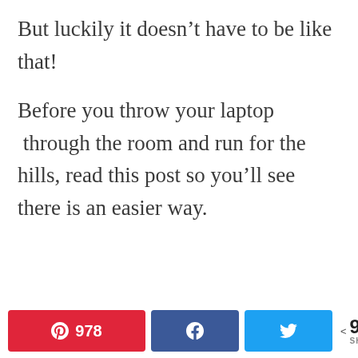But luckily it doesn’t have to be like that!
Before you throw your laptop  through the room and run for the hills, read this post so you’ll see there is an easier way.
This is where Bluehost comes in...
Bluehost is the top recommended web host for WordPress and they make setting up your blog super easy!
This site uses cookies. By continuing to browse the site, you are agreeing to our use of cookies.
978 SHARES